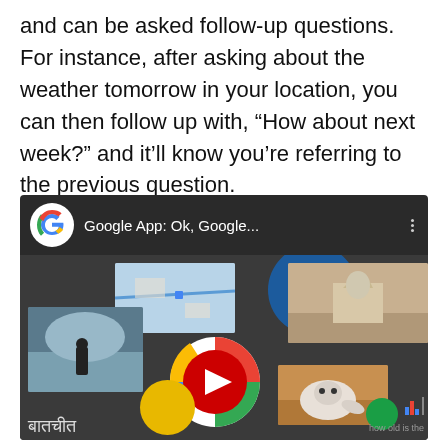and can be asked follow-up questions. For instance, after asking about the weather tomorrow in your location, you can then follow up with, “How about next week?” and it’ll know you’re referring to the previous question.
[Figure (screenshot): YouTube video thumbnail for 'Google App: Ok, Google...' showing a collage of Google app features including maps, nature photography, the Taj Mahal, and a seal. A large red YouTube play button is centered over the collage.]